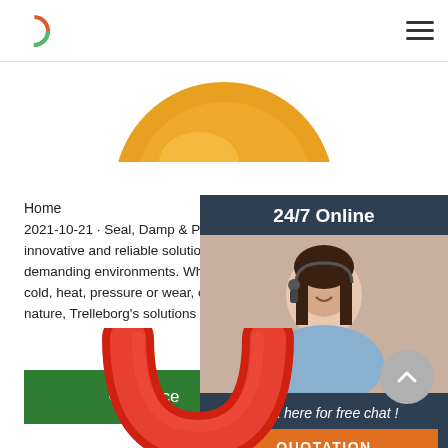Logo and navigation menu
[Figure (photo): Partial yellow circle/dome shape at top center]
Home
2021-10-21u2002·u2002Seal, Damp & Protect. Tr innovative and reliable solutions that seal, damp demanding environments. Whether the challeng cold, heat, pressure or wear, or just the tremendc nature, Trelleborg's solutions are there to help.
[Figure (photo): Customer service representative woman with headset smiling, with 24/7 Online banner and chat/quotation CTA panel on dark blue background]
[Figure (photo): Red rubber O-ring/seal component shown from below, U-shape visible]
[Figure (other): Grey back-to-top circular arrow button]